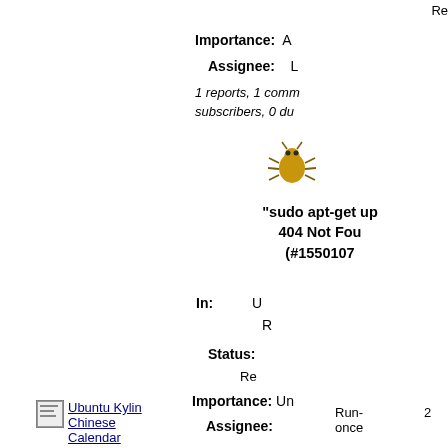Re
Importance: A
Assignee: L
1 reports, 1 comm subscribers, 0 du
[Figure (illustration): Bug emoji icon]
"sudo apt-get up 404 Not Fou (#1550107
In: U R
Status:
Re
Importance: Un
Assignee:
1 reports, 6 comm subscribers, 0 du
[Figure (illustration): Bug emoji icon]
Main Interfa Appropriate & T Verbal content over (#15590
[Figure (illustration): Small document icon thumbnail]
Ubuntu Kylin Chinese Calendar
Run-once
2
-
-